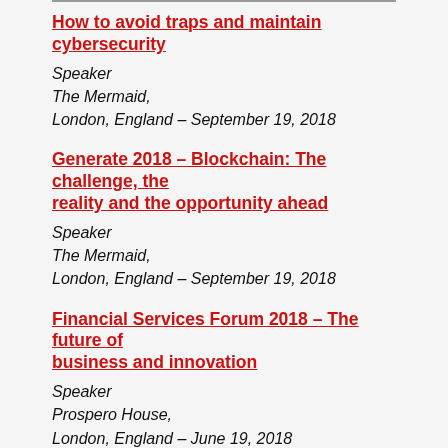How to avoid traps and maintain cybersecurity
Speaker
The Mermaid,
London, England – September 19, 2018
Generate 2018 – Blockchain: The challenge, the reality and the opportunity ahead
Speaker
The Mermaid,
London, England – September 19, 2018
Financial Services Forum 2018 – The future of business and innovation
Speaker
Prspero House,
London, England – June 19, 2018
National Society of Compliance Professionals...